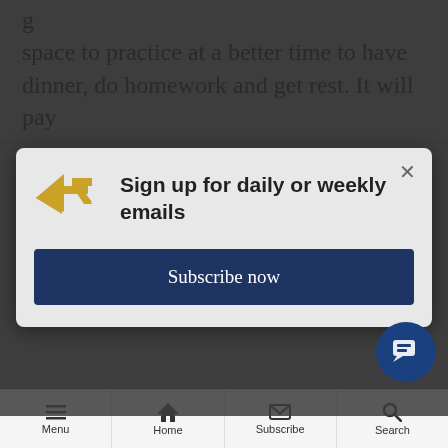space to practice at a better time to have dinner, do homework and get rest. It will pay
[Figure (screenshot): Email subscription modal with golden arrow logo, 'Sign up for daily or weekly emails' heading, and 'Subscribe now' dark blue button]
Shortly after the announcement of Blessed Solanus Casey's beatification in 2017, the late Warren entrepreneur and furniture business mogul Art Van Elslander donated up to $20
Menu | Home | Subscribe | Search